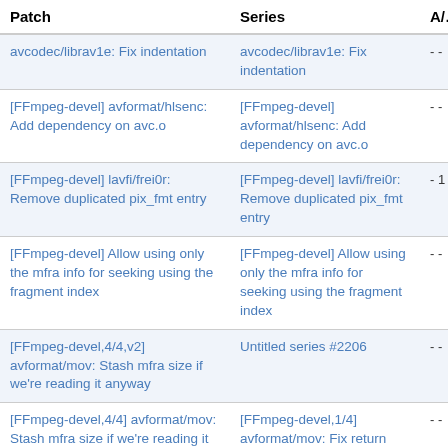| Patch | Series | A/… |
| --- | --- | --- |
| avcodec/librav1e: Fix indentation | avcodec/librav1e: Fix indentation | - - |
| [FFmpeg-devel] avformat/hlsenc: Add dependency on avc.o | [FFmpeg-devel] avformat/hlsenc: Add dependency on avc.o | - - |
| [FFmpeg-devel] lavfi/frei0r: Remove duplicated pix_fmt entry | [FFmpeg-devel] lavfi/frei0r: Remove duplicated pix_fmt entry | - 1 |
| [FFmpeg-devel] Allow using only the mfra info for seeking using the fragment index | [FFmpeg-devel] Allow using only the mfra info for seeking using the fragment index | - - |
| [FFmpeg-devel,4/4,v2] avformat/mov: Stash mfra size if we're reading it anyway | Untitled series #2206 | - - |
| [FFmpeg-devel,4/4] avformat/mov: Stash mfra size if we're reading it anyway | [FFmpeg-devel,1/4] avformat/mov: Fix return type used for av_seek in mfra code | - - |
| [FFmpeg-devel,3/4] avformat/mov: Only read the mfra size once during sidx | [FFmpeg-devel,1/4] avformat/mov: Fix return type used for av_seek in mfra code | - - |